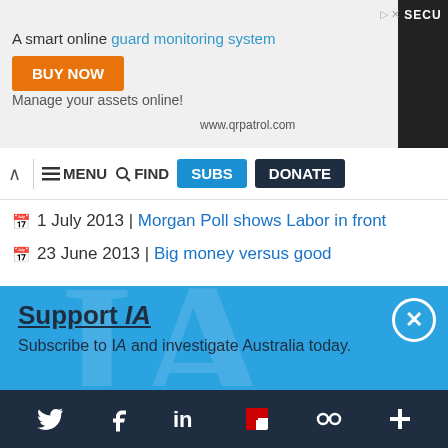[Figure (screenshot): Advertisement banner: 'A smart online guard monitoring system' with BUY NOW button, www.qrpatrol.com, and SECU text with person image]
≡ MENU  🔍 FIND  SUBS  DONATE
1 July 2013 | Morgan Poll shows Labor in front
23 June 2013 | Big money versus good
Support IA
Subscribe to IA and investigate Australia today.
Close  Subscribe  Donate
Twitter  Facebook  LinkedIn  Flipboard  Links  Plus